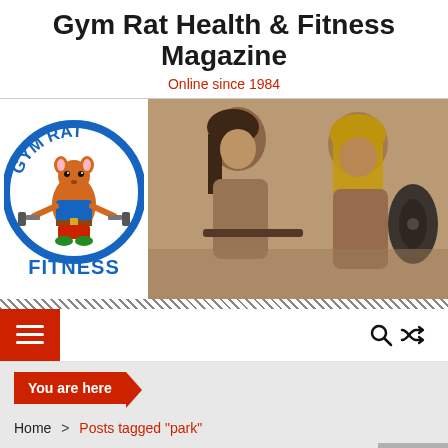Gym Rat Health & Fitness Magazine
Online since 1984
[Figure (logo): Gym Rat Fitness logo with cartoon rat lifting weights, circular text reading GYM RAT FITNESS]
[Figure (photo): Sepia-toned composite photo of two women lifting weights in a gym]
[Figure (other): Navigation bar with red hamburger menu button on left and search/shuffle icons on right]
You are here
Home > Posts tagged "park"
TAG: PARK